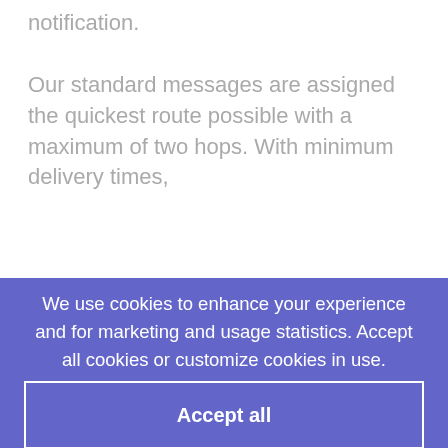notification.
Our standard messages are assigned the quickest route possible with a maximum of two hops. With minimum delivery times,
We use cookies to enhance your experience and for marketing and usage statistics. Accept all cookies or customize cookies in use.
Accept all
Accept strictly necessary
Customize cookies